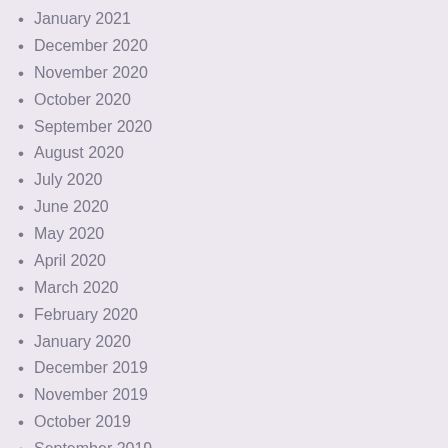January 2021
December 2020
November 2020
October 2020
September 2020
August 2020
July 2020
June 2020
May 2020
April 2020
March 2020
February 2020
January 2020
December 2019
November 2019
October 2019
September 2019
August 2019
July 2019
June 2019
May 2019